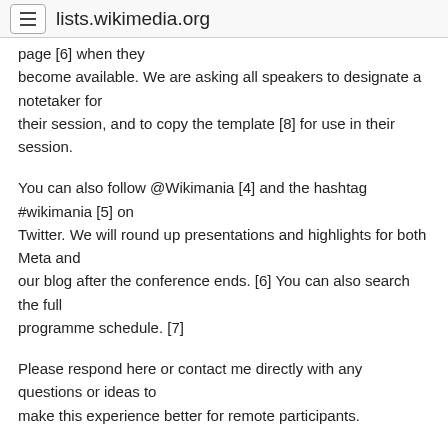lists.wikimedia.org
page [6] when they become available. We are asking all speakers to designate a notetaker for their session, and to copy the template [8] for use in their session.
You can also follow @Wikimania [4] and the hashtag #wikimania [5] on Twitter. We will round up presentations and highlights for both Meta and our blog after the conference ends. [6] You can also search the full programme schedule. [7]
Please respond here or contact me directly with any questions or ideas to make this experience better for remote participants.
- Mel